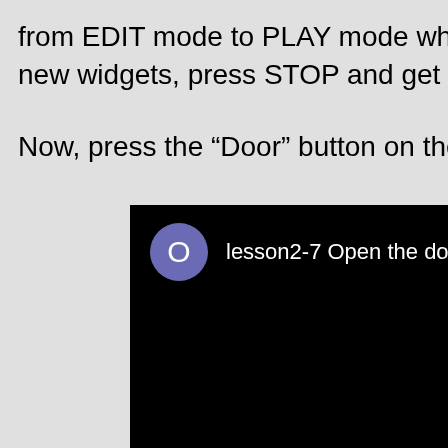from EDIT mode to PLAY mode where you can in new widgets, press STOP and get back to EDIT m
Now, press the “Door” button on the APP, the doo
[Figure (screenshot): A dark/black video player interface showing a lesson tile with a purple circle icon containing the letter O and the text 'lesson2-7 Open the door remotely']